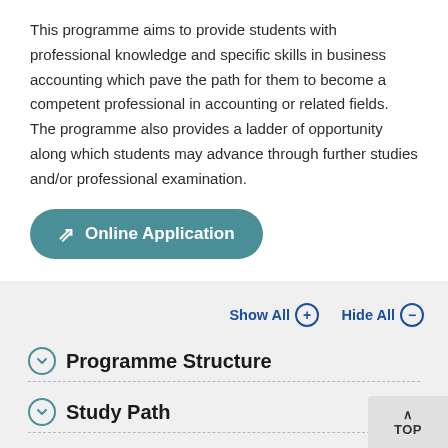This programme aims to provide students with professional knowledge and specific skills in business accounting which pave the path for them to become a competent professional in accounting or related fields. The programme also provides a ladder of opportunity along which students may advance through further studies and/or professional examination.
[Figure (other): Online Application button with arrow icon, teal rounded rectangle]
Show All ⊕   Hide All ⊖
Programme Structure
Study Path